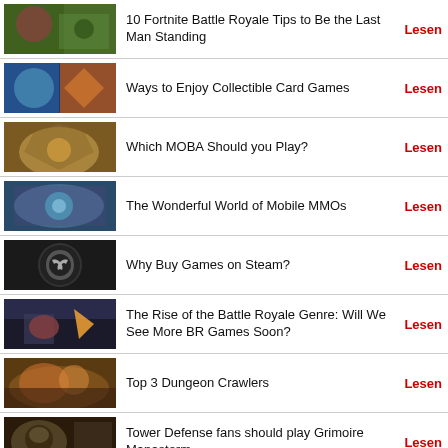10 Fortnite Battle Royale Tips to Be the Last Man Standing — Lesen
Ways to Enjoy Collectible Card Games — Lesen
Which MOBA Should you Play? — Lesen
The Wonderful World of Mobile MMOs — Lesen
Why Buy Games on Steam? — Lesen
The Rise of the Battle Royale Genre: Will We See More BR Games Soon? — Lesen
Top 3 Dungeon Crawlers — Lesen
Tower Defense fans should play Grimoire Manastorm — Lesen